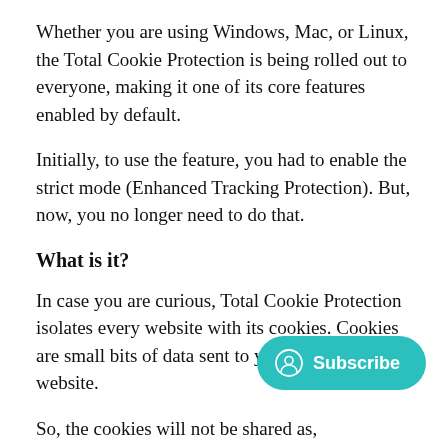Whether you are using Windows, Mac, or Linux, the Total Cookie Protection is being rolled out to everyone, making it one of its core features enabled by default.
Initially, to use the feature, you had to enable the strict mode (Enhanced Tracking Protection). But, now, you no longer need to do that.
What is it?
In case you are curious, Total Cookie Protection isolates every website with its cookies. Cookies are small bits of data sent to your browser by a website.
So, the cookies will not be shared a...s, thereby, preventing cross-site tracking.
[Figure (other): Teal/green Subscribe button with a user/profile circle icon and the text 'Subscribe']